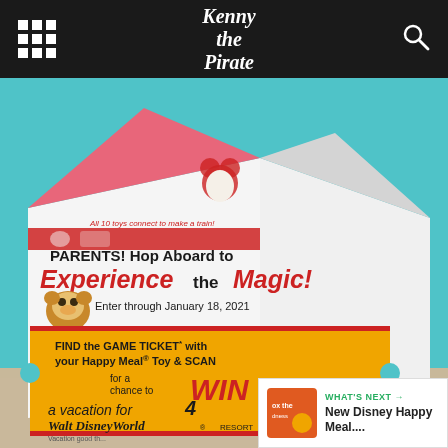Kenny the Pirate
[Figure (photo): A McDonald's Happy Meal box photographed on a teal background. The box shows Disney-themed graphics including Mickey Mouse and train silhouettes. Text on the box reads: 'All 10 toys connect to make a train!' and 'PARENTS! Hop Aboard to Experience the Magic! Enter through January 18, 2021' and 'FIND the GAME TICKET with your Happy Meal Toy & SCAN for a chance to WIN a vacation for 4 to Walt Disney World Resort'. An orange/yellow ticket-styled panel shows the prize details. A Chip character tsum tsum is visible on the box.]
WHAT'S NEXT → New Disney Happy Meal....